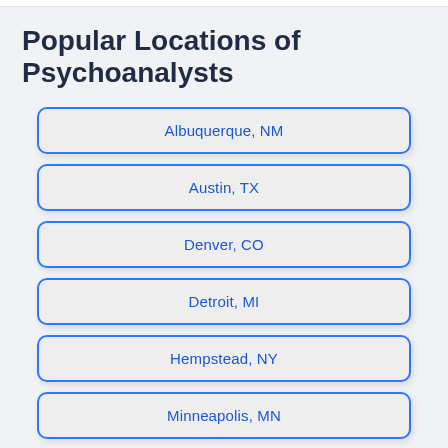Popular Locations of Psychoanalysts
Albuquerque, NM
Austin, TX
Denver, CO
Detroit, MI
Hempstead, NY
Minneapolis, MN